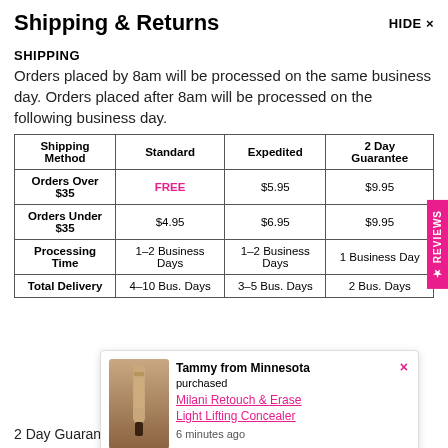Shipping & Returns
SHIPPING
Orders placed by 8am will be processed on the same business day. Orders placed after 8am will be processed on the following business day.
| Shipping Method | Standard | Expedited | 2 Day Guarantee |
| --- | --- | --- | --- |
| Orders Over $35 | FREE | $5.95 | $9.95 |
| Orders Under $35 | $4.95 | $6.95 | $9.95 |
| Processing Time | 1–2 Business Days | 1–2 Business Days | 1 Business Day |
| Total Delivery | 4–10 Bus. Days | 3–5 Bus. Days | 2 Bus. Days |
[Figure (illustration): Popup notification showing Tammy from Minnesota purchased Milani Retouch & Erase Light Lifting Concealer 6 minutes ago, with a product image of a concealer pen]
2 Day Guarantee orders are shipped with Fedex